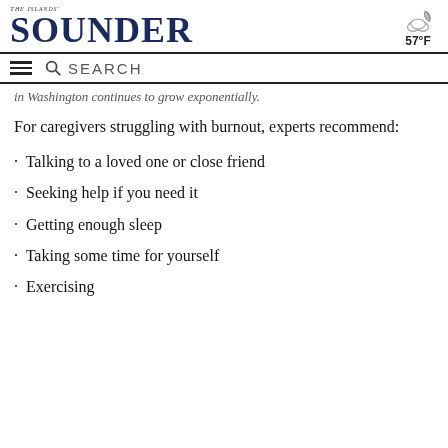The Islands' Sounder — 57°F
in Washington continues to grow exponentially.
For caregivers struggling with burnout, experts recommend:
Talking to a loved one or close friend
Seeking help if you need it
Getting enough sleep
Taking some time for yourself
Exercising